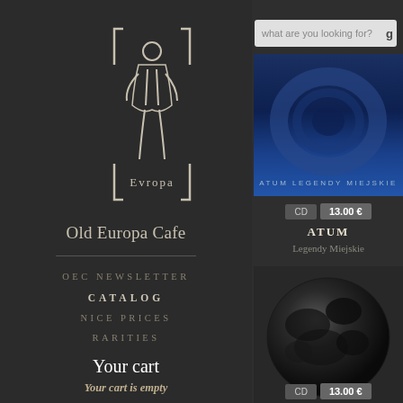[Figure (logo): Old Europa Cafe logo — stylized white line-art figure with text 'Evropa' beneath]
Old Europa Cafe
OEC NEWSLETTER
CATALOG
NICE PRICES
RARITIES
Your cart
Your cart is empty
[Figure (screenshot): Search bar with placeholder text 'what are you looking for?']
[Figure (photo): Album cover for ATUM - Legendy Miejskie, blue toned image with text 'ATUM LEGENDY MIEJSKIE']
CD  13.00 €
ATUM
Legendy Miejskie
[Figure (photo): Album cover for GROBBING THRISTLE — dark grey spherical shape on dark background]
CD  13.00 €
GROBBING THRISTLE